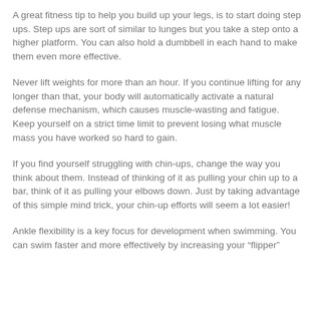A great fitness tip to help you build up your legs, is to start doing step ups. Step ups are sort of similar to lunges but you take a step onto a higher platform. You can also hold a dumbbell in each hand to make them even more effective.
Never lift weights for more than an hour. If you continue lifting for any longer than that, your body will automatically activate a natural defense mechanism, which causes muscle-wasting and fatigue. Keep yourself on a strict time limit to prevent losing what muscle mass you have worked so hard to gain.
If you find yourself struggling with chin-ups, change the way you think about them. Instead of thinking of it as pulling your chin up to a bar, think of it as pulling your elbows down. Just by taking advantage of this simple mind trick, your chin-up efforts will seem a lot easier!
Ankle flexibility is a key focus for development when swimming. You can swim faster and more effectively by increasing your “flipper”